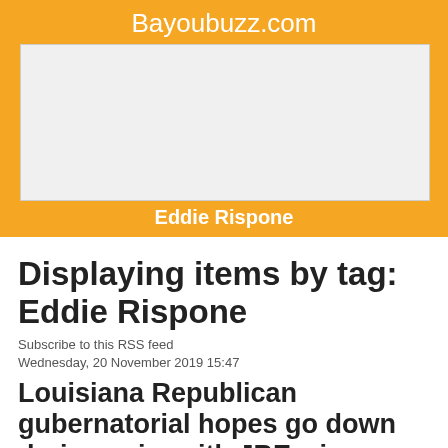Bayoubuzz.com
[Figure (other): Advertisement placeholder box]
Eddie Rispone
Displaying items by tag: Eddie Rispone
Subscribe to this RSS feed
Wednesday, 20 November 2019 15:47
Louisiana Republican gubernatorial hopes go down drain again, with JBE win